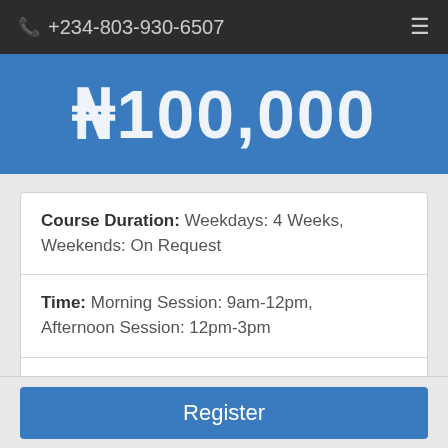+234-803-930-6507
₦100,000
Course Duration: Weekdays: 4 Weeks, Weekends: On Request
Time: Morning Session: 9am-12pm, Afternoon Session: 12pm-3pm
Requirement: Basic Knowledge of Computer
Register